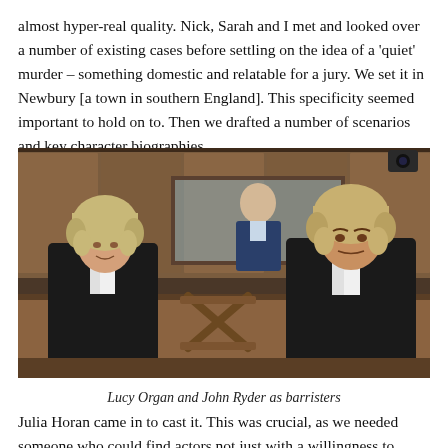almost hyper-real quality. Nick, Sarah and I met and looked over a number of existing cases before settling on the idea of a 'quiet' murder – something domestic and relatable for a jury. We set it in Newbury [a town in southern England]. This specificity seemed important to hold on to. Then we drafted a number of scenarios and key character biographies.
[Figure (photo): Two barristers in traditional wigs and black robes seated at a courtroom bench. A man in a suit is visible in the background behind glass. The courtroom has wooden paneling.]
Lucy Organ and John Ryder as barristers
Julia Horan came in to cast it. This was crucial, as we needed someone who could find actors not just with a willingness to